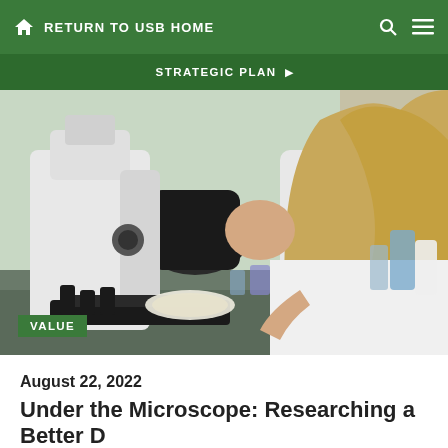RETURN TO USB HOME
STRATEGIC PLAN
[Figure (photo): A female researcher in a white lab coat looking through a microscope in a laboratory setting, with lab equipment and supplies visible in the background. A green 'VALUE' badge overlays the lower-left of the image.]
August 22, 2022
Under the Microscope: Researching a Better D...